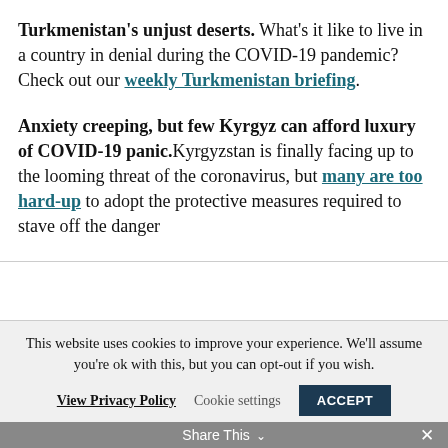Turkmenistan's unjust deserts. What's it like to live in a country in denial during the COVID-19 pandemic? Check out our weekly Turkmenistan briefing.
Anxiety creeping, but few Kyrgyz can afford luxury of COVID-19 panic. Kyrgyzstan is finally facing up to the looming threat of the coronavirus, but many are too hard-up to adopt the protective measures required to stave off the danger
This website uses cookies to improve your experience. We'll assume you're ok with this, but you can opt-out if you wish.
View Privacy Policy  Cookie settings  ACCEPT  Share This ✕